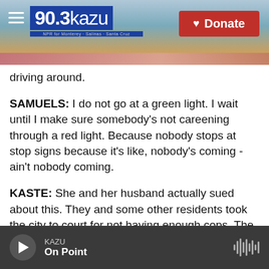90.3 KAZU | Donate
driving around.
SAMUELS: I do not go at a green light. I wait until I make sure somebody's not careening through a red light. Because nobody stops at stop signs because it's like, nobody's coming - ain't nobody coming.
KASTE: She and her husband actually sued about this. They and some other residents took the city to court for not having enough cops. The city charter sets a per capita minimum number of officers. And based on that, a judge ruled earlier this month that the city should hire more. The police department
KAZU | On Point